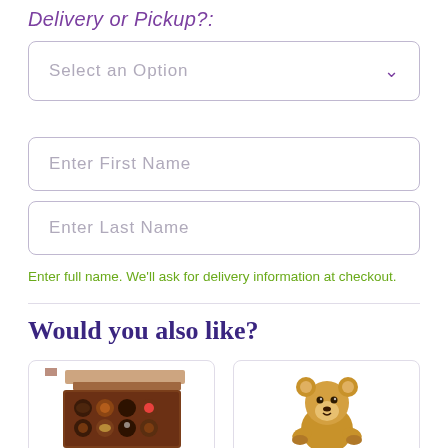Delivery or Pickup?:
Select an Option
Enter First Name
Enter Last Name
Enter full name. We'll ask for delivery information at checkout.
Would you also like?
[Figure (photo): Box of chocolates with lid open showing assorted chocolates]
[Figure (photo): Plush teddy bear, light brown, sitting upright]